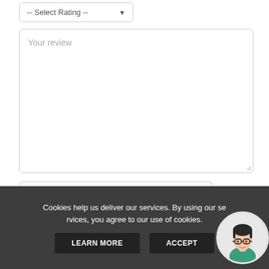[Figure (screenshot): Select Rating dropdown box with arrow]
[Figure (screenshot): Your review textarea input box, empty with placeholder text]
[Figure (screenshot): reCAPTCHA widget with checkbox labeled I'm not a robot and reCAPTCHA logo with Privacy and Terms links]
Cookies help us deliver our services. By using our services, you agree to our use of cookies.
LEARN MORE
ACCEPT
[Figure (illustration): Circular avatar illustration of a person with glasses and dark hair]